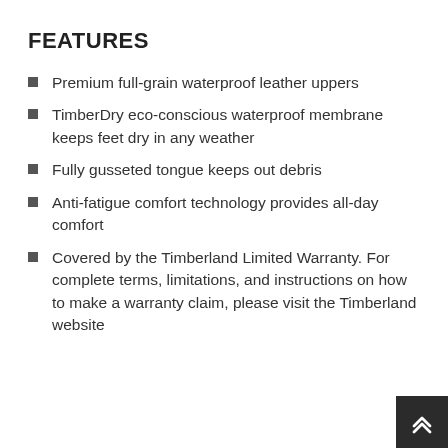FEATURES
Premium full-grain waterproof leather uppers
TimberDry eco-conscious waterproof membrane keeps feet dry in any weather
Fully gusseted tongue keeps out debris
Anti-fatigue comfort technology provides all-day comfort
Covered by the Timberland Limited Warranty. For complete terms, limitations, and instructions on how to make a warranty claim, please visit the Timberland website